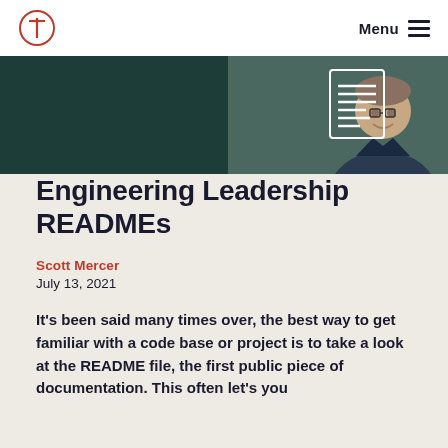Menu
[Figure (photo): Hero banner with dark teal background showing a person smiling, with a document/README icon overlay]
Engineering Leadership READMEs
Scott Mercer
July 13, 2021
It’s been said many times over, the best way to get familiar with a code base or project is to take a look at the README file, the first public piece of documentation. This often let’s you